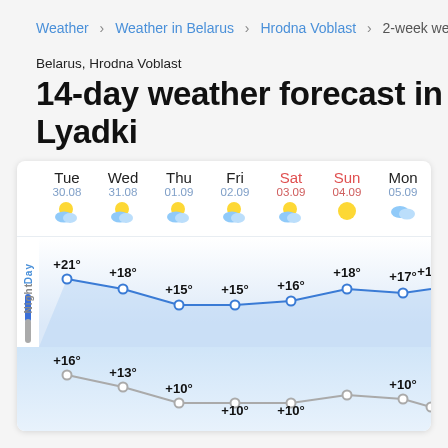Weather > Weather in Belarus > Hrodna Voblast > 2-week weat...
Belarus, Hrodna Voblast
14-day weather forecast in Lyadki
[Figure (line-chart): 14-day weather forecast temperature chart]